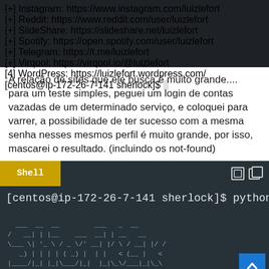[Figure (screenshot): Terminal window showing list of social media profile URLs for user luizlefort: Instagram, Reddit, SlideShare, Spotify, Telegram, Virqool, WordPress. Prompt at bottom.]
A relação de sites que ele busca é muito grande.... para um teste simples, peguei um login de contas vazadas de um determinado serviço, e coloquei para varrer, a possibilidade de ter sucesso com a mesma senha nesses mesmos perfil é muito grande, por isso, mascarei o resultado. (incluindo os not-found)
[Figure (screenshot): Terminal window with Shell label bar, showing command: [centos@ip-172-26-7-141 sherlock]$ python, followed by ASCII art of sherlock text logo in grey on dark background.]